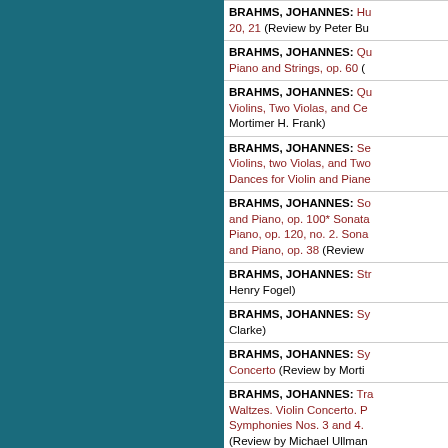BRAHMS, JOHANNES: Hungarian Dances, 20, 21 (Review by Peter Bu...)
BRAHMS, JOHANNES: Quartet for Piano and Strings, op. 60 (...)
BRAHMS, JOHANNES: Quintet for Two Violins, Two Violas, and Cello ... (Review by Mortimer H. Frank)
BRAHMS, JOHANNES: Sextet for Two Violins, two Violas, and Two ... Hungarian Dances for Violin and Piano...
BRAHMS, JOHANNES: Sonata for Violin and Piano, op. 100* Sonata for Clarinet and Piano, op. 120, no. 2. Sonata for Cello and Piano, op. 38 (Review ...)
BRAHMS, JOHANNES: String ... (Review by Henry Fogel)
BRAHMS, JOHANNES: Symphony ... (Review by ... Clarke)
BRAHMS, JOHANNES: Symphony ... Violin Concerto (Review by Mortimer ...)
BRAHMS, JOHANNES: Tragic Overture. Waltzes. Violin Concerto. Piano Concerto. Symphonies Nos. 3 and 4. ... (Review by Michael Ullman...)
BRAHMS, JOHANNES: Tr...